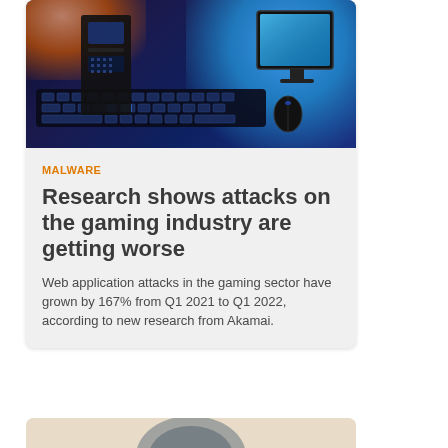[Figure (photo): Dark gaming PC setup with glowing blue monitor and RGB keyboard in a dark environment]
MALWARE
Research shows attacks on the gaming industry are getting worse
Web application attacks in the gaming sector have grown by 167% from Q1 2021 to Q1 2022, according to new research from Akamai.
[Figure (photo): Partial view of a robotic or smart home device on a beige background]